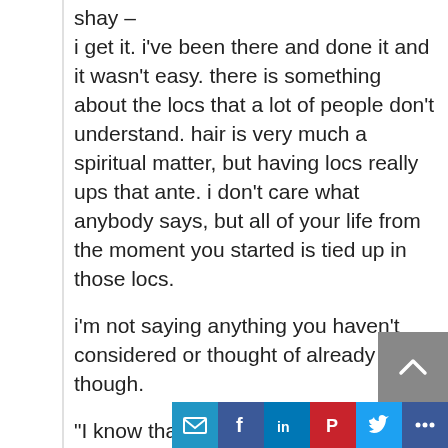shay –
i get it. i've been there and done it and it wasn't easy. there is something about the locs that a lot of people don't understand. hair is very much a spiritual matter, but having locs really ups that ante. i don't care what anybody says, but all of your life from the moment you started is tied up in those locs.

i'm not saying anything you haven't considered or thought of already though.

"I know that I need to be still and wait to be led as there may be lessons still to be learned on this journey."